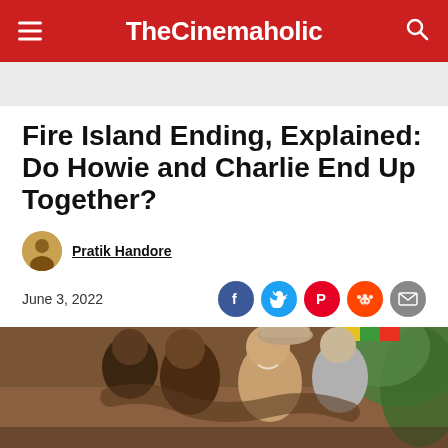TheCinemaholic
Fire Island Ending, Explained: Do Howie and Charlie End Up Together?
Pratik Handore
June 3, 2022
[Figure (photo): Group of people hugging and laughing outdoors, scene from Fire Island movie]